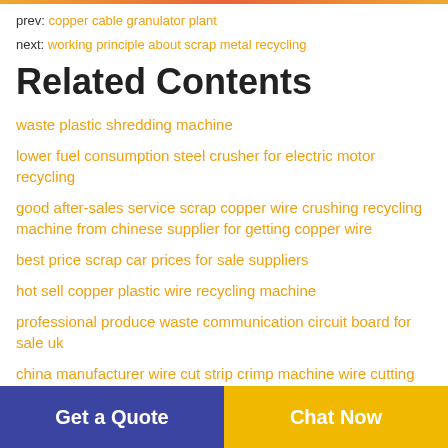prev: copper cable granulator plant
next: working principle about scrap metal recycling
Related Contents
waste plastic shredding machine
lower fuel consumption steel crusher for electric motor recycling
good after-sales service scrap copper wire crushing recycling machine from chinese supplier for getting copper wire
best price scrap car prices for sale suppliers
hot sell copper plastic wire recycling machine
professional produce waste communication circuit board for sale uk
china manufacturer wire cut strip crimp machine wire cutting and stripping machine